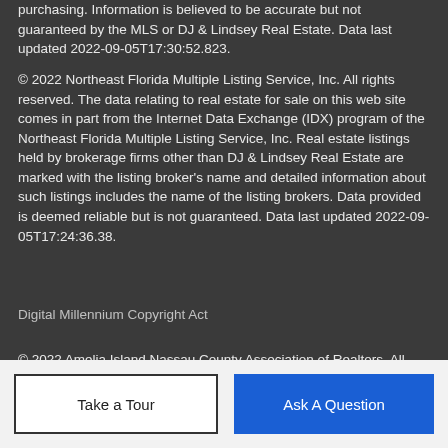purchasing. Information is believed to be accurate but not guaranteed by the MLS or DJ & Lindsey Real Estate. Data last updated 2022-09-05T17:30:52.823.
© 2022 Northeast Florida Multiple Listing Service, Inc. All rights reserved. The data relating to real estate for sale on this web site comes in part from the Internet Data Exchange (IDX) program of the Northeast Florida Multiple Listing Service, Inc. Real estate listings held by brokerage firms other than DJ & Lindsey Real Estate are marked with the listing broker's name and detailed information about such listings includes the name of the listing brokers. Data provided is deemed reliable but is not guaranteed. Data last updated 2022-09-05T17:24:36.38.
Digital Millennium Copyright Act
© 2022 Amelia Island Nassau County Association of Realtors. All rights reserved. IDX information is provided exclusively for consumers personal, non-commercial use and may not be used for any purpose other than to identify prospective properties consumers may be interested in purchasing. Information is not guaranteed accurate by the MLS.